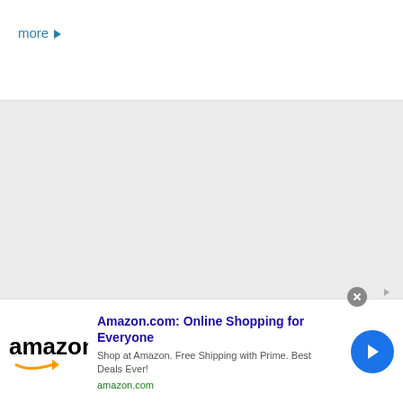more ▶
[Figure (other): Gray empty content area]
[Figure (other): Amazon advertisement banner with Amazon logo, title 'Amazon.com: Online Shopping for Everyone', description 'Shop at Amazon. Free Shipping with Prime. Best Deals Ever!', URL 'amazon.com', close button, and CTA arrow button]